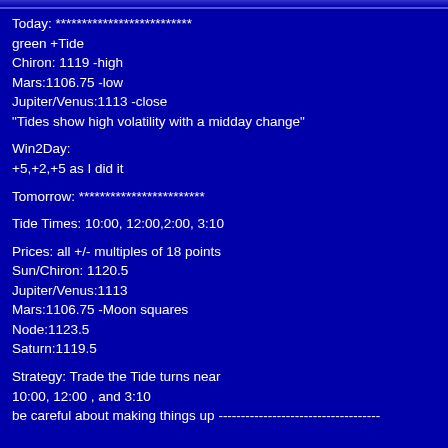Today: ************************** green +Tide Chiron: 1119 -high Mars:1106.75 -low Jupiter/Venus:1113 -close "Tides show high volatility with a midday change"
Win2Day: +5,+2,+5 as I did it
Tomorrow: ************************
Tide Times: 10:00, 12:00,2:00, 3:10
Prices: all +/- multiples of 18 points Sun/Chiron: 1120.5 Jupiter/Venus:1113 Mars:1106.75 -Moon squares Node:1123.5 Saturn:1119.5
Strategy: Trade the Tide turns near 10:00, 12:00 , and 3:10 be careful about making things up -----------------------------------